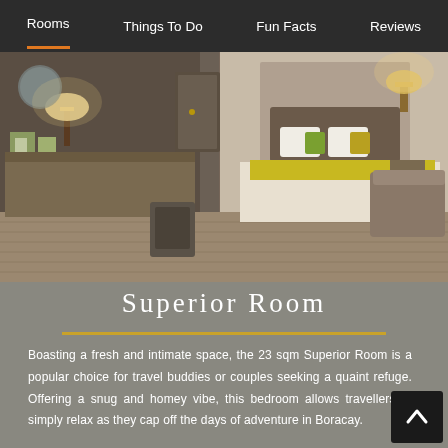Rooms | Things To Do | Fun Facts | Reviews
[Figure (photo): Hotel superior room interior showing a bed with green/yellow accent pillows and runner, a sofa, desk with lamp, and wooden flooring]
Superior Room
Boasting a fresh and intimate space, the 23 sqm Superior Room is a popular choice for travel buddies or couples seeking a quaint refuge. Offering a snug and homey vibe, this bedroom allows travellers to simply relax as they cap off the days of adventure in Boracay.